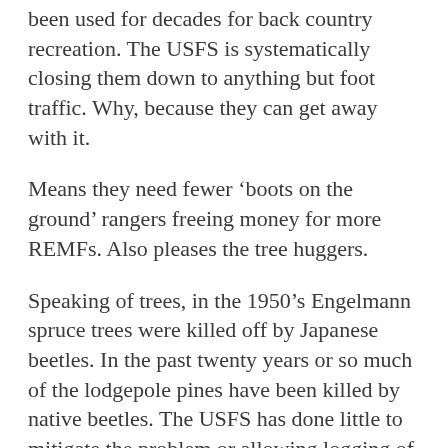been used for decades for back country recreation. The USFS is systematically closing them down to anything but foot traffic. Why, because they can get away with it.
Means they need fewer ‘boots on the ground’ rangers freeing money for more REMFs. Also pleases the tree huggers.
Speaking of trees, in the 1950’s Engelmann spruce trees were killed off by Japanese beetles. In the past twenty years or so much of the lodgepole pines have been killed by native beetles. The USFS has done little to mitigate the problem or allowing logging of the dead trees. Surprise, wildfires have